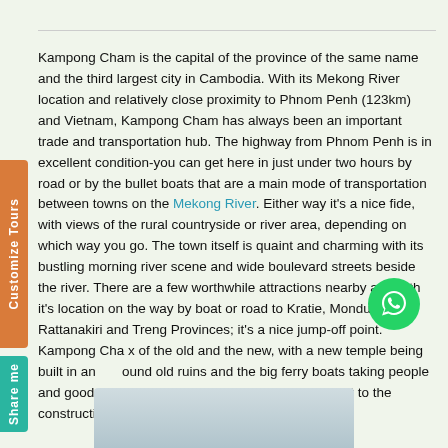Kampong Cham is the capital of the province of the same name and the third largest city in Cambodia. With its Mekong River location and relatively close proximity to Phnom Penh (123km) and Vietnam, Kampong Cham has always been an important trade and transportation hub. The highway from Phnom Penh is in excellent condition-you can get here in just under two hours by road or by the bullet boats that are a main mode of transportation between towns on the Mekong River. Either way it's a nice fide, with views of the rural countryside or river area, depending on which way you go. The town itself is quaint and charming with its bustling morning river scene and wide boulevard streets beside the river. There are a few worthwhile attractions nearby and with it's location on the way by boat or road to Kratie, Mondulkiri, Rattanakiri and Treng Provinces; it's a nice jump-off point. Kampong Cham is a mix of the old and the new, with a new temple being built in and around old ruins and the big ferry boats taking people and goods to the other side of the Mekong, right next to the construction of the first bridge ever built here.
[Figure (photo): Partially visible photo at the bottom of the page, appears to show a river or waterway scene]